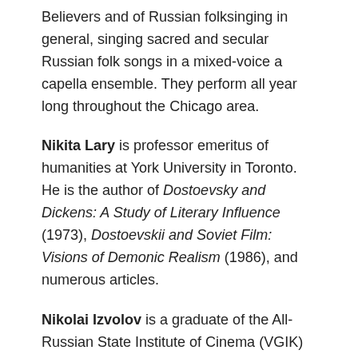Believers and of Russian folksinging in general, singing sacred and secular Russian folk songs in a mixed-voice a capella ensemble. They perform all year long throughout the Chicago area.
Nikita Lary is professor emeritus of humanities at York University in Toronto. He is the author of Dostoevsky and Dickens: A Study of Literary Influence (1973), Dostoevskii and Soviet Film: Visions of Demonic Realism (1986), and numerous articles.
Nikolai Izvolov is a graduate of the All-Russian State Institute of Cinema (VGIK) in Moscow. From the early 1990s Nikolai has taught at the Higher Courses for Screenwriters and Directors at VGIK; in 1996-1997 he also served VGIK as provost for scholarly and creative